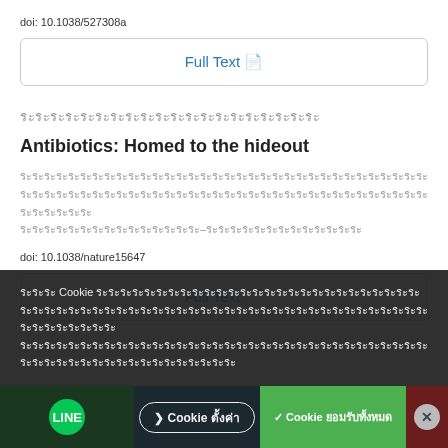doi: 10.1038/527308a
Full Text
████████████████████
Antibiotics: Homed to the hideout
████████████████████████████████████████████████████████████████████████████████████—████████████████
doi: 10.1038/nature15647
Full Text
██████ Cookie ████████████████████████████████████████████████████████████████████████████████████████████████████████████████████████████████████
❯ Cookie ตั้งค่า
✓ Cookie ยอมรับทั้งหมด